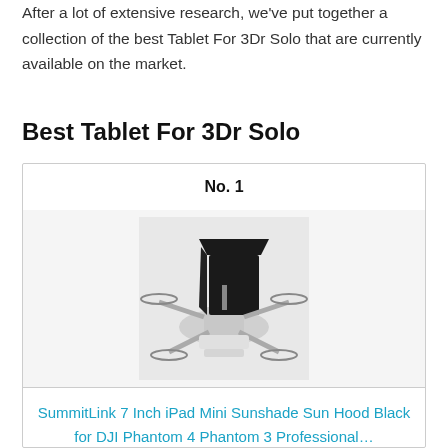After a lot of extensive research, we've put together a collection of the best Tablet For 3Dr Solo that are currently available on the market.
Best Tablet For 3Dr Solo
No. 1
[Figure (photo): Photo of a drone with a tablet sunshade mount attached]
SummitLink 7 Inch iPad Mini Sunshade Sun Hood Black for DJI Phantom 4 Phantom 3 Professional…